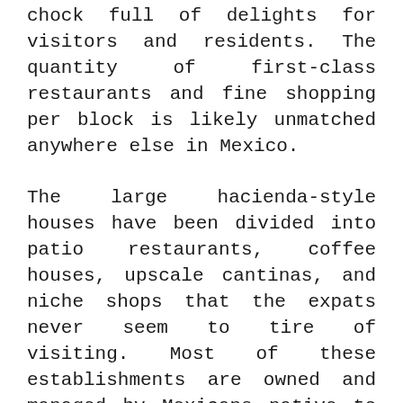chock full of delights for visitors and residents. The quantity of first-class restaurants and fine shopping per block is likely unmatched anywhere else in Mexico.
The large hacienda-style houses have been divided into patio restaurants, coffee houses, upscale cantinas, and niche shops that the expats never seem to tire of visiting. Most of these establishments are owned and managed by Mexicans native to San Miguel. Their famous friendliness and graciousness is soothing and charming for the harried visitors from Toronto or Chicago.